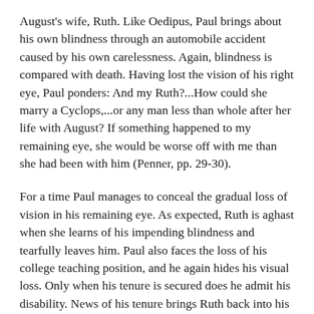August's wife, Ruth. Like Oedipus, Paul brings about his own blindness through an automobile accident caused by his own carelessness. Again, blindness is compared with death. Having lost the vision of his right eye, Paul ponders: And my Ruth?...How could she marry a Cyclops,...or any man less than whole after her life with August? If something happened to my remaining eye, she would be worse off with me than she had been with him (Penner, pp. 29-30).
For a time Paul manages to conceal the gradual loss of vision in his remaining eye. As expected, Ruth is aghast when she learns of his impending blindness and tearfully leaves him. Paul also faces the loss of his college teaching position, and he again hides his visual loss. Only when his tenure is secured does he admit his disability. News of his tenure brings Ruth back into his life, and when she becomes pregnant they joyfully plan to marry. By the novel's close, Paul has learned Braille and can travel with a cane. After his months of anguish, blindness is no longer an obstacle in his professional or personal life. He emerges, a man restored after a sojourn in purgatory. But he never